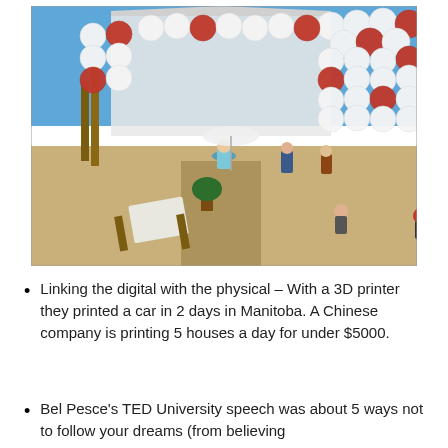[Figure (photo): Outdoor event or festival scene on a sandy beach area. Large white event tent in the background. Hundreds of white and red balloons forming a wall installation. Many people standing and walking around. Deck chairs visible in the foreground. Sunny blue sky.]
Linking the digital with the physical – With a 3D printer they printed a car in 2 days in Manitoba. A Chinese company is printing 5 houses a day for under $5000.
Bel Pesce's TED University speech was about 5 ways not to follow your dreams (from believing